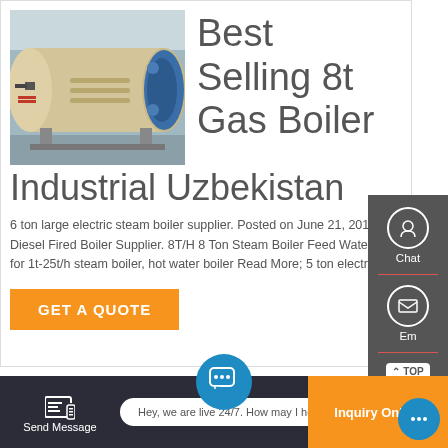[Figure (photo): Industrial gas boiler unit, large cylindrical tank with blue end cap, in a warehouse/factory setting]
Best Selling 8t Gas Boiler Industrial Uzbekistan
6 ton large electric steam boiler supplier. Posted on June 21, 2019 Author Circulating 8ton Gas Fired Boiler, Best Seller Industrial 4 TON 6 TON Diesel Fired Boiler Supplier. 8T/H 8 Ton Steam Boiler Feed Water Pump.49MW chain grate parts of boiler Step Grate Boiler SupplierIt is matching for 1t-25t/h steam boiler, hot water boiler Read More; 5 ton electric steam boiler supplier
GET A QUOTE
Hey, we are live 24/7. How may I help you?
Send Message
Inquiry Online